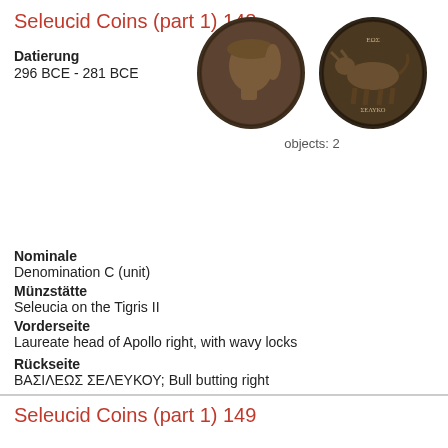Seleucid Coins (part 1) 148
Datierung
296 BCE - 281 BCE
[Figure (photo): Two ancient coins: obverse showing laureate head of Apollo right, reverse showing bull butting right with Greek inscription]
objects: 2
Nominale
Denomination C (unit)
Münzstätte
Seleucia on the Tigris II
Vorderseite
Laureate head of Apollo right, with wavy locks
Rückseite
ΒΑΣΙΛΕΩΣ ΣΕΛΕΥΚΟΥ; Bull butting right
Seleucid Coins (part 1) 149
Datierung
286 BCE - 281 BCE
[Figure (photo): Two ancient coins partially visible: obverse showing head, reverse showing Greek inscription ΒΑΣΙΛΕΩΣ]